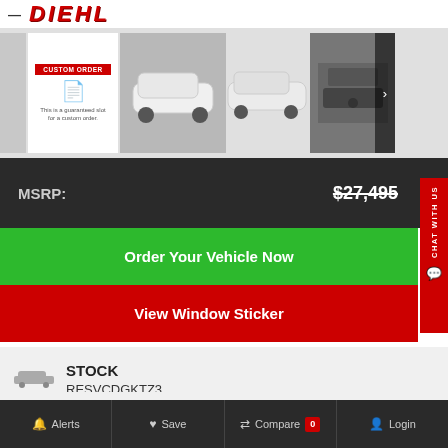DIEHL (dealership logo and navigation header)
[Figure (screenshot): Car dealership image gallery showing custom order placeholder, white SUV exterior views, and interior dashboard shot with navigation arrow]
MSRP: $27,495 (strikethrough)
Order Your Vehicle Now
View Window Sticker
STOCK
RESVCDGKTZ3
Alerts  Save  Compare 0  Login